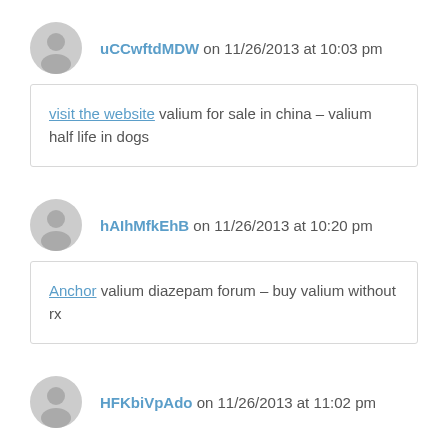uCCwftdMDW on 11/26/2013 at 10:03 pm
visit the website valium for sale in china – valium half life in dogs
hAIhMfkEhB on 11/26/2013 at 10:20 pm
Anchor valium diazepam forum – buy valium without rx
HFKbiVpAdo on 11/26/2013 at 11:02 pm